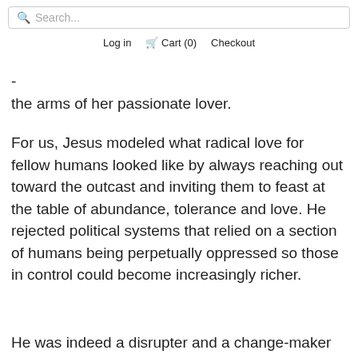Search...  Log in  Cart (0)  Checkout
- the arms of her passionate lover.
For us, Jesus modeled what radical love for fellow humans looked like by always reaching out toward the outcast and inviting them to feast at the table of abundance, tolerance and love. He rejected political systems that relied on a section of humans being perpetually oppressed so those in control could become increasingly richer.
He was indeed a disrupter and a change-maker